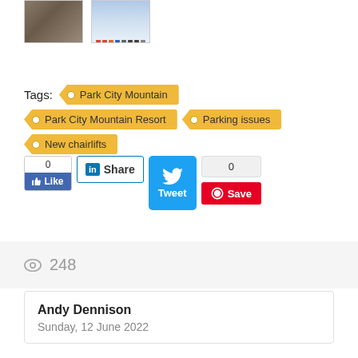[Figure (photo): Two thumbnail images: a mountain aerial photo and a ski trail map]
Tags: Park City Mountain | Park City Mountain Resort | Parking issues | New chairlifts
[Figure (infographic): Social sharing buttons: Facebook Like (0), LinkedIn Share, Twitter Tweet, Pinterest Save (0)]
248 views
Andy Dennison
Sunday, 12 June 2022